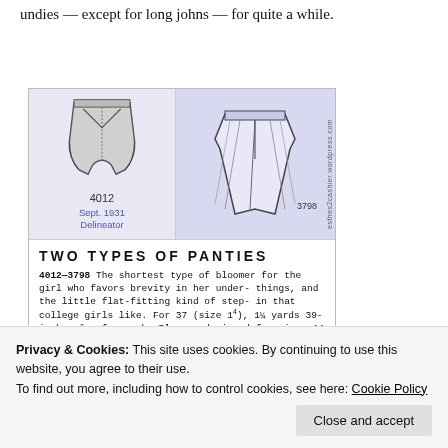undies — except for long johns — for quite a while.
[Figure (illustration): Vintage 1931 sewing pattern illustration showing two types of panties/bloomers. Left panel shows pattern 4012, a simple bloomer style, labeled 'Sept. 1931 Delineator'. Right panel shows pattern 3798, a fuller godet-style panty. Watermark text reads 'esthes2cashier.wordpress.com'. Bottom section shows text: TWO TYPES OF PANTIES with description text for patterns 4012-3798.]
Privacy & Cookies: This site uses cookies. By continuing to use this website, you agree to their use.
To find out more, including how to control cookies, see here: Cookie Policy
Close and accept